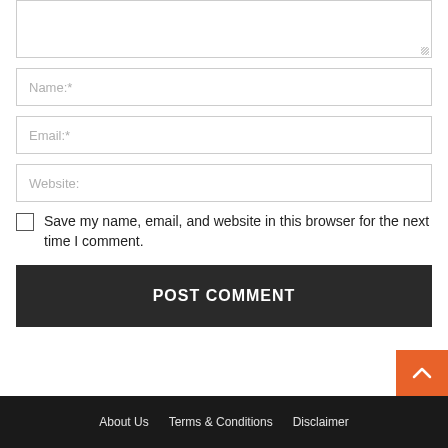[Figure (screenshot): Textarea input field (partially visible at top, empty)]
Name:*
Email:*
Website:
Save my name, email, and website in this browser for the next time I comment.
POST COMMENT
About Us   Terms & Conditions   Disclaimer